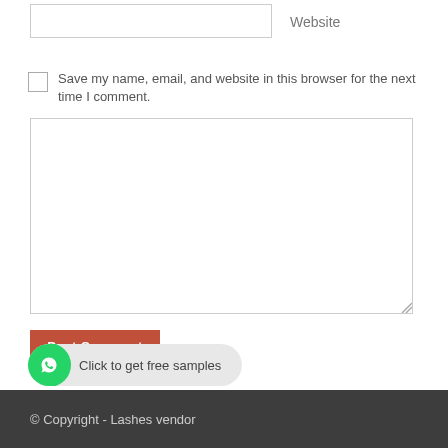Website
Save my name, email, and website in this browser for the next time I comment.
[Figure (screenshot): Large text input area (textarea) for comment, with resize handle at bottom right]
[Figure (screenshot): Red 'Post Comment' button]
[Figure (screenshot): WhatsApp CTA button with green phone icon and text 'Click to get free samples']
© Copyright - Lashes vendor